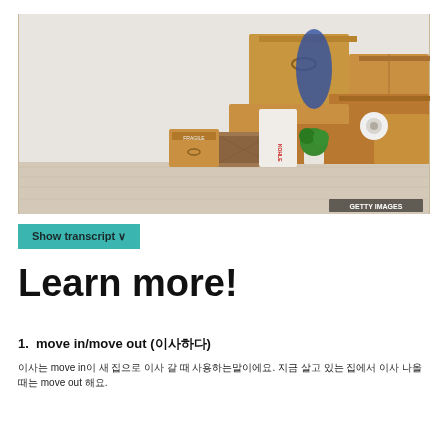[Figure (photo): Stack of cardboard moving boxes and miscellaneous items piled against a white wall on a light wood floor, with a Getty Images watermark in the bottom right corner.]
Show transcript ∨
Learn more!
1.  move in/move out (이사하다)
이사는 move in이 새 집으로 이사 갈 때 사용하는말이에요. 지금 살고 있는 집에서 이사 나올 때는 move out 해요.